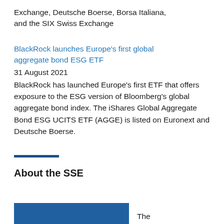Exchange, Deutsche Boerse, Borsa Italiana, and the SIX Swiss Exchange
BlackRock launches Europe’s first global aggregate bond ESG ETF
31 August 2021
BlackRock has launched Europe’s first ETF that offers exposure to the ESG version of Bloomberg’s global aggregate bond index. The iShares Global Aggregate Bond ESG UCITS ETF (AGGE) is listed on Euronext and Deutsche Boerse.
About the SSE
[Figure (photo): Partial blue image/banner at the bottom of the page, with text 'The' visible to the right]